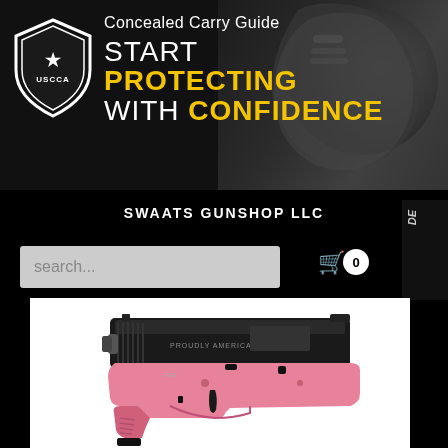[Figure (screenshot): USCCA Concealed Carry Guide banner with logo and fist background image. Text reads: Concealed Carry Guide / START PROTECTING WITH CONFIDENCE]
SWAATS GUNSHOP LLC
[Figure (screenshot): Search bar with placeholder text 'search...' and shopping cart icon with 0 items and hamburger menu icon]
[Figure (photo): Pink and black semi-automatic pistol (handgun) on white background - product photo from gun shop website]